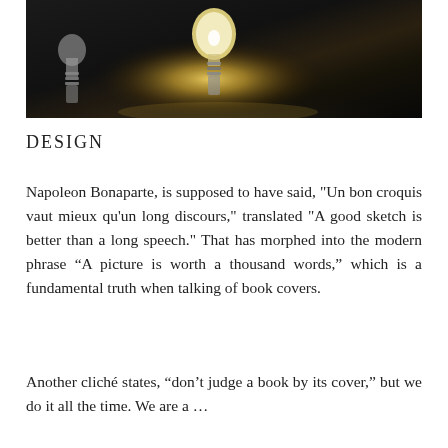[Figure (photo): Close-up photo of light bulbs on a dark reflective surface with warm glowing light in the background]
DESIGN
Napoleon Bonaparte, is supposed to have said, "Un bon croquis vaut mieux qu'un long discours," translated "A good sketch is better than a long speech." That has morphed into the modern phrase “A picture is worth a thousand words,” which is a fundamental truth when talking of book covers.
Another cliché states, “don’t judge a book by its cover,” but we do it all the time. We are a …